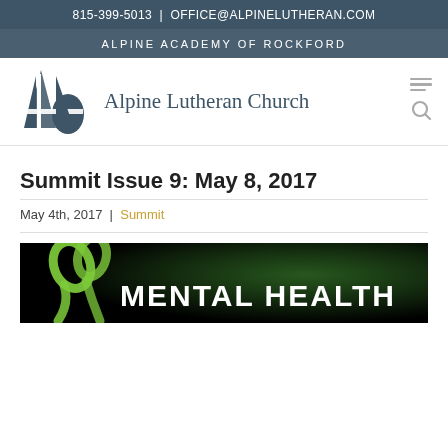815-399-5013  |  OFFICE@ALPINELUTHERAN.COM
ALPINE ACADEMY OF ROCKFORD
[Figure (logo): Alpine Lutheran Church logo with stylized sail/letter A icon in dark teal and text 'Alpine Lutheran Church' beside it]
Summit Issue 9: May 8, 2017
May 4th, 2017  |  Summit
[Figure (photo): Dark background image with green mental health awareness ribbon on the left and large white bold text reading 'MENTAL HEALTH' across the bottom]